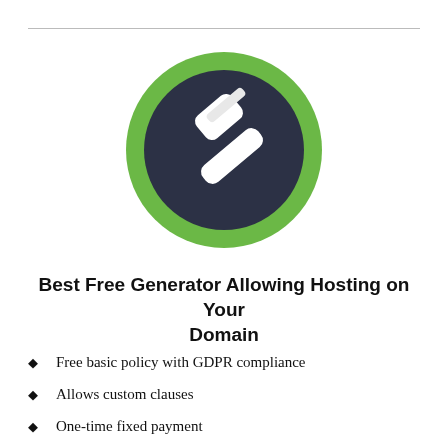[Figure (illustration): A circle icon with a green outer ring and dark navy inner circle containing a white gavel/judge hammer symbol]
Best Free Generator Allowing Hosting on Your Domain
Free basic policy with GDPR compliance
Allows custom clauses
One-time fixed payment